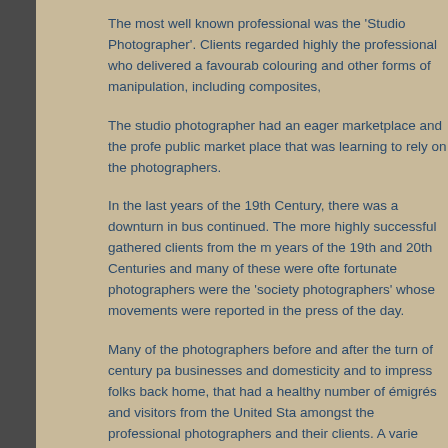The most well known professional was the 'Studio Photographer'. Clients regarded highly the professional who delivered a favourable colouring and other forms of manipulation, including composites,
The studio photographer had an eager marketplace and the professional public market place that was learning to rely on the photographers.
In the last years of the 19th Century, there was a downturn in business continued. The more highly successful gathered clients from the many years of the 19th and 20th Centuries and many of these were often the fortunate photographers were the 'society photographers' whose movements were reported in the press of the day.
Many of the photographers before and after the turn of century pa businesses and domesticity and to impress folks back home, that had a healthy number of émigrés and visitors from the United States amongst the professional photographers and their clients. A variety
These travelling photographers blitzed the cities, the regional centres seen as an important event within a country town, with progress t